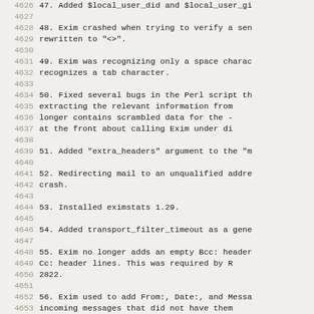4626  47. Added $local_user_did and $local_user_gi
4627
4628  48. Exim crashed when trying to verify a sen
4629      rewritten to "<>".
4630
4631  49. Exim was recognizing only a space charac
4632      recognizes a tab character.
4633
4634  50. Fixed several bugs in the Perl script th
4635      extracting the relevant information from
4636      longer contains scrambled data for the -
4637      at the front about calling Exim under di
4638
4639  51. Added "extra_headers" argument to the "m
4640
4641  52. Redirecting mail to an unqualified addre
4642      crash.
4643
4644  53. Installed eximstats 1.29.
4645
4646  54. Added transport_filter_timeout as a gene
4647
4648  55. Exim no longer adds an empty Bcc: header
4649      Cc: header lines. This was required by R
4650      2822.
4651
4652  56. Exim used to add From:, Date:, and Messa
4653      incoming messages that did not have them
4654      message originates locally, that is, if
4655      address. When Resent- header lines are p
4656      lines rather than the non-Resent- lines.
4657
4658  57. Drop incoming SMTP connection after too